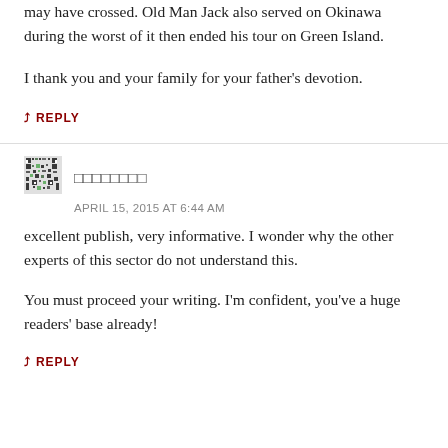may have crossed. Old Man Jack also served on Okinawa during the worst of it then ended his tour on Green Island.
I thank you and your family for your father's devotion.
↳ REPLY
[Figure (other): User avatar - small pixelated/QR-style avatar image]
oooooooo
APRIL 15, 2015 AT 6:44 AM
excellent publish, very informative. I wonder why the other experts of this sector do not understand this.
You must proceed your writing. I'm confident, you've a huge readers' base already!
↳ REPLY